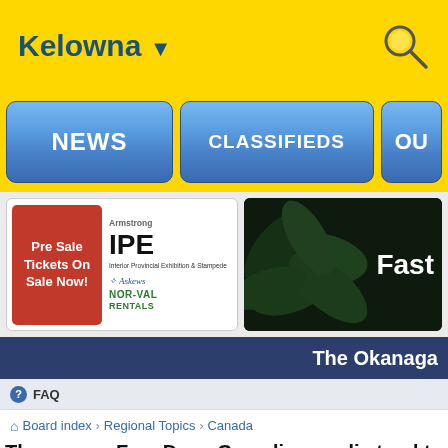Kelowna ▼
[Figure (screenshot): Navigation bar with NEWS, CLASSIFIEDS, and partial OU button on yellow background]
[Figure (infographic): IPE Pre Sale Tickets On Sale Now advertisement with Armstrong IPE logo, Askews and NOR-VAL RENTALS logos]
[Figure (infographic): Cannabis leaves dark background ad with text Fast]
The Okanaga
FAQ
Board index › Regional Topics › Canada
The war on Fox. Does Canadian media tend to lea